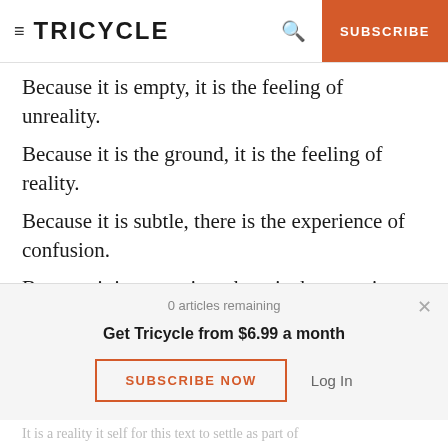TRICYCLE | SUBSCRIBE
Because it is empty, it is the feeling of unreality.
Because it is the ground, it is the feeling of reality.
Because it is subtle, there is the experience of confusion.
Because it is unceasing, there is the experience of meaning.
Because it is non-dual, it is complete compassion.
Because it is compassion, it is the truth and the innate law.
0 articles remaining
Get Tricycle from $6.99 a month
SUBSCRIBE NOW
Log In
It is a reality it self for this text to settle as part of